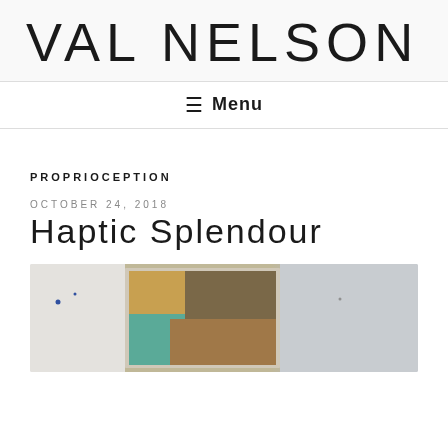VAL NELSON
Menu
PROPRIOCEPTION
OCTOBER 24, 2018
Haptic Splendour
[Figure (photo): Gallery installation photo showing abstract artwork on white wall with warm earthy and teal tones]